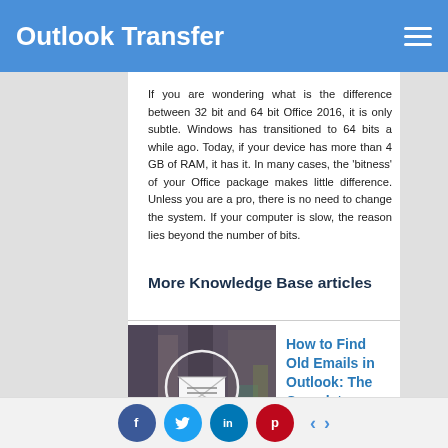Outlook Transfer
If you are wondering what is the difference between 32 bit and 64 bit Office 2016, it is only subtle. Windows has transitioned to 64 bits a while ago. Today, if your device has more than 4 GB of RAM, it has it. In many cases, the ‘bitness’ of your Office package makes little difference. Unless you are a pro, there is no need to change the system. If your computer is slow, the reason lies beyond the number of bits.
More Knowledge Base articles
[Figure (illustration): An envelope icon with a circle overlay on a blurred bookshelf background]
How to Find Old Emails in Outlook: The Complete Guide
August 15, 2022